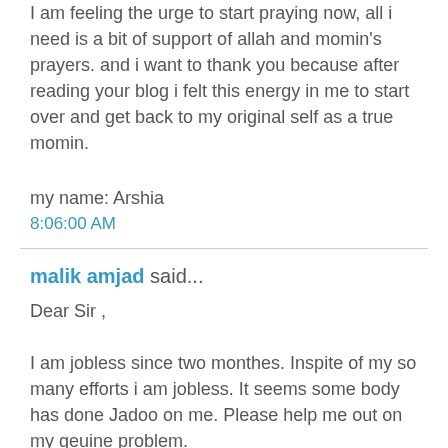I am feeling the urge to start praying now, all i need is a bit of support of allah and momin's prayers. and i want to thank you because after reading your blog i felt this energy in me to start over and get back to my original self as a true momin.
my name: Arshia
8:06:00 AM
malik amjad said...
Dear Sir ,

I am jobless since two monthes. Inspite of my so many efforts i am jobless. It seems some body has done Jadoo on me. Please help me out on my geuine problem.
8:53:00 AM
Anonymous said...